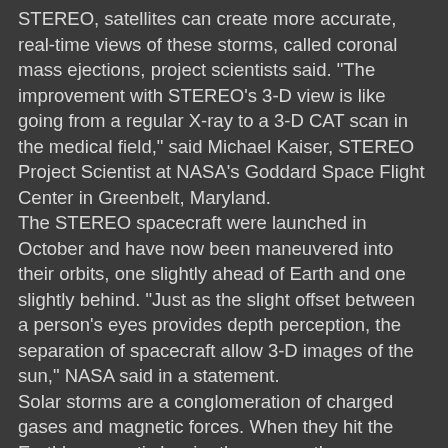STEREO, satellites can create more accurate, real-time views of these storms, called coronal mass ejections, project scientists said. "The improvement with STEREO's 3-D view is like going from a regular X-ray to a 3-D CAT scan in the medical field," said Michael Kaiser, STEREO Project Scientist at NASA's Goddard Space Flight Center in Greenbelt, Maryland.
The STEREO spacecraft were launched in October and have now been maneuvered into their orbits, one slightly ahead of Earth and one slightly behind. "Just as the slight offset between a person's eyes provides depth perception, the separation of spacecraft allow 3-D images of the sun," NASA said in a statement.
Solar storms are a conglomeration of charged gases and magnetic forces. When they hit the Earth's magnetic barrier they cause the auroras, the dramatic Northern and Southern lights. But they can also disrupt satellites, radio communication, and power grids. The radiation they carry is a danger to astronauts.
The orbiting SOHO observatory is providing some information, but the two STEREO spacecraft will be able to triangulate with SOHO and give a much better view of these